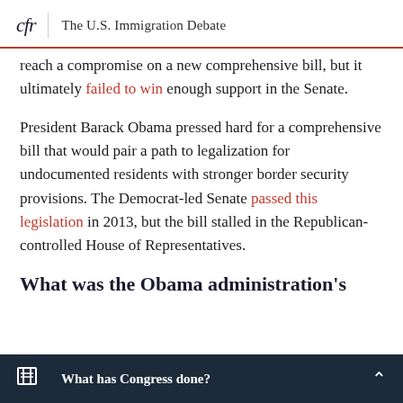cfr | The U.S. Immigration Debate
reach a compromise on a new comprehensive bill, but it ultimately failed to win enough support in the Senate.
President Barack Obama pressed hard for a comprehensive bill that would pair a path to legalization for undocumented residents with stronger border security provisions. The Democrat-led Senate passed this legislation in 2013, but the bill stalled in the Republican-controlled House of Representatives.
What was the Obama administration's
What has Congress done?